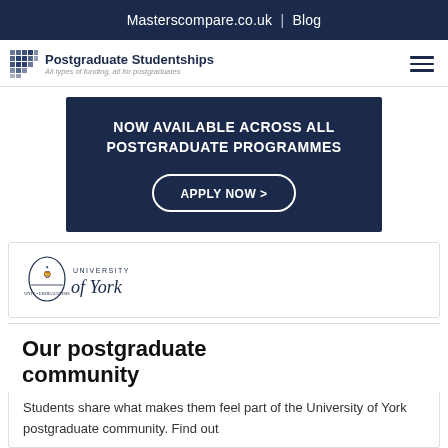Masterscompare.co.uk | Blog
[Figure (logo): Postgraduate Studentships logo with grid icon and tagline 'All types of funding, all for postgraduates']
[Figure (infographic): Dark navy banner: 'NOW AVAILABLE ACROSS ALL POSTGRADUATE PROGRAMMES' with 'APPLY NOW >' button]
[Figure (logo): University of York logo with crest and stylized text]
Our postgraduate community
Students share what makes them feel part of the University of York postgraduate community. Find out